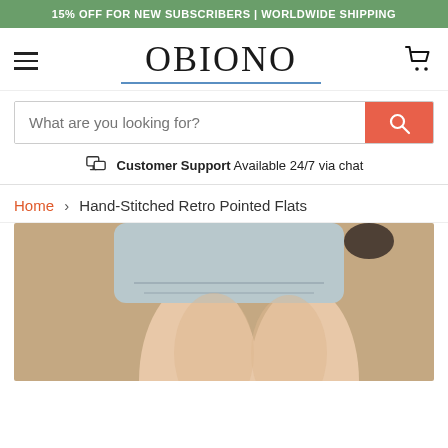15% OFF FOR NEW SUBSCRIBERS | WORLDWIDE SHIPPING
OBIONO
What are you looking for?
Customer Support Available 24/7 via chat
Home > Hand-Stitched Retro Pointed Flats
[Figure (photo): Product photo showing model's legs wearing flat shoes with denim shorts against a tan/brown background]